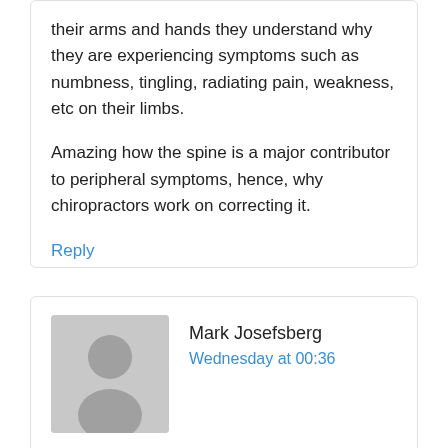their arms and hands they understand why they are experiencing symptoms such as numbness, tingling, radiating pain, weakness, etc on their limbs.
Amazing how the spine is a major contributor to peripheral symptoms, hence, why chiropractors work on correcting it.
Reply
Mark Josefsberg
Wednesday at 00:36
Thanks for the article. This is what I was meant to